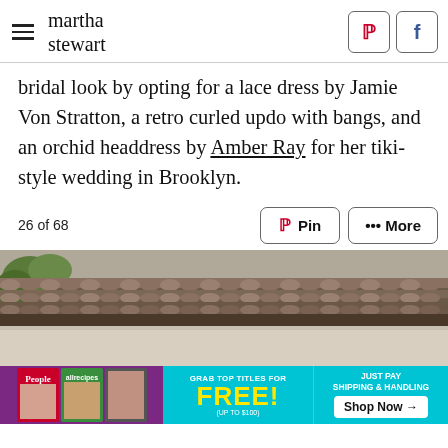martha stewart
bridal look by opting for a lace dress by Jamie Von Stratton, a retro curled updo with bangs, and an orchid headdress by Amber Ray for her tiki-style wedding in Brooklyn.
26 of 68
[Figure (photo): Photo of a tiki-style venue roof with clay roof tiles, partially showing foliage and white wall beneath, taken at the Brooklyn wedding venue.]
[Figure (infographic): Advertisement banner: Grab top titles for FREE (up to $100). Just pay shipping & handling. Shop Now arrow. Features People and allrecipes magazine covers.]